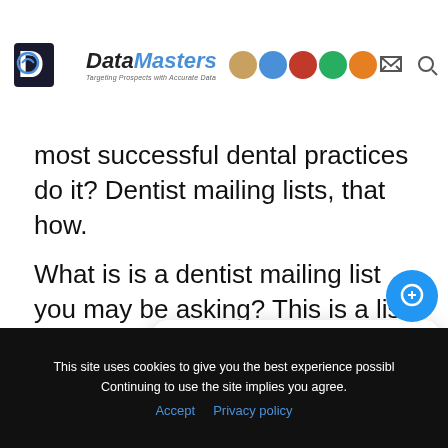DataMasters — Targeting Prospects with Accurate Data
most successful dental practices do it? Dentist mailing lists, that how.
What is is a dentist mailing list you may be asking? This is a list of possible prospects that you target to offer you dental services. How is this different from a Facebook ad or a random marketing campaign. That is the question tha
Today you will le…d large dental pra
close
Hi there, have a question? Text us here.
This site uses cookies to give you the best experience possible. Continuing to use the site implies you agree.
Accept   Privacy policy